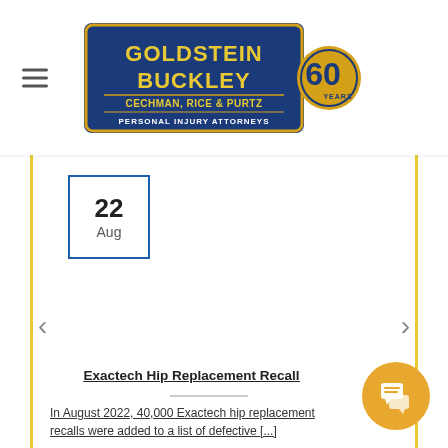[Figure (logo): Goldstein Buckley Cechman, Rice & Purtz – Personal Injury Attorneys – 60 Years logo, blue and gold rectangular badge]
Recent Blogs
22
Aug
< (previous navigation arrow)
> (next navigation arrow)
Exactech Hip Replacement Recall
In August 2022, 40,000 Exactech hip replacement recalls were added to a list of defective [...]